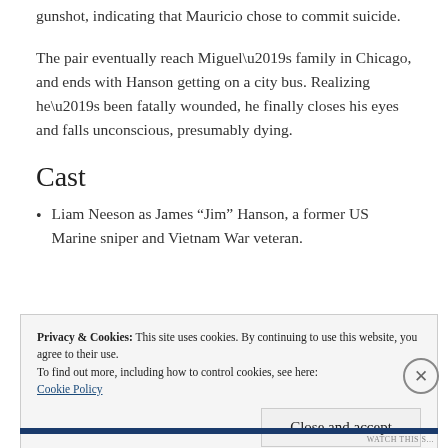gunshot, indicating that Mauricio chose to commit suicide.
The pair eventually reach Miguel’s family in Chicago, and ends with Hanson getting on a city bus. Realizing he’s been fatally wounded, he finally closes his eyes and falls unconscious, presumably dying.
Cast
Liam Neeson as James “Jim” Hanson, a former US Marine sniper and Vietnam War veteran.
Privacy & Cookies: This site uses cookies. By continuing to use this website, you agree to their use.
To find out more, including how to control cookies, see here: Cookie Policy
Close and accept